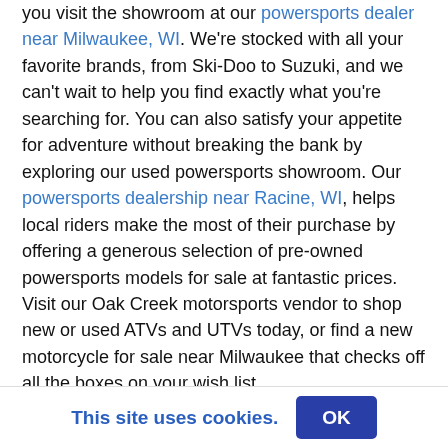you visit the showroom at our powersports dealer near Milwaukee, WI. We're stocked with all your favorite brands, from Ski-Doo to Suzuki, and we can't wait to help you find exactly what you're searching for. You can also satisfy your appetite for adventure without breaking the bank by exploring our used powersports showroom. Our powersports dealership near Racine, WI, helps local riders make the most of their purchase by offering a generous selection of pre-owned powersports models for sale at fantastic prices. Visit our Oak Creek motorsports vendor to shop new or used ATVs and UTVs today, or find a new motorcycle for sale near Milwaukee that checks off all the boxes on your wish list.
While supply lasts. On-Road Vehicles: Advertised price does not include sales tax, registration, title fee or surcharge. Service fees not included in the advertised price. Service fees vary by model, and type of vehicle
This site uses cookies.